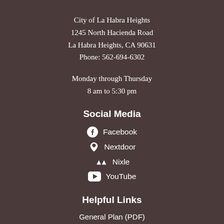City of La Habra Heights
1245 North Hacienda Road
La Habra Heights, CA 90631
Phone: 562-694-6302
Monday through Thursday
8 am to 5:30 pm
Social Media
Facebook
Nextdoor
Nixle
YouTube
Helpful Links
General Plan (PDF)